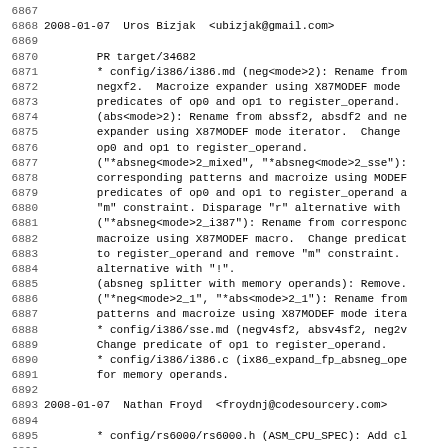6867
6868 2008-01-07  Uros Bizjak  <ubizjak@gmail.com>
6869
6870        PR target/34682
6871        * config/i386/i386.md (neg<mode>2): Rename from
6872        negxf2.  Macroize expander using X87MODEF mode
6873        predicates of op0 and op1 to register_operand.
6874        (abs<mode>2): Rename from abssf2, absdf2 and ne
6875        expander using X87MODEF mode iterator.  Change
6876        op0 and op1 to register_operand.
6877        ("*absneg<mode>2_mixed", "*absneg<mode>2_sse"):
6878        corresponding patterns and macroize using MODEF
6879        predicates of op0 and op1 to register_operand a
6880        "m" constraint. Disparage "r" alternative with
6881        ("*absneg<mode>2_i387"): Rename from corresponc
6882        macroize using X87MODEF macro.  Change predicat
6883        to register_operand and remove "m" constraint.
6884        alternative with "!".
6885        (absneg splitter with memory operands): Remove.
6886        ("*neg<mode>2_1", "*abs<mode>2_1"): Rename from
6887        patterns and macroize using X87MODEF mode itera
6888        * config/i386/sse.md (negv4sf2, absv4sf2, neg2v
6889        Change predicate of op1 to register_operand.
6890        * config/i386/i386.c (ix86_expand_fp_absneg_ope
6891        for memory operands.
6892
6893 2008-01-07  Nathan Froyd  <froydnj@codesourcery.com>
6894
6895        * config/rs6000/rs6000.h (ASM_CPU_SPEC): Add cl
6896
6897 2008-01-07  Richard Guenther  <rguenther@suse.de>
6898